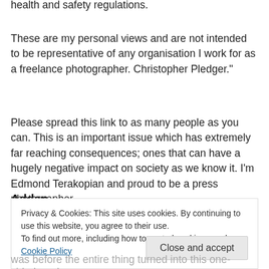health and safety regulations.
These are my personal views and are not intended to be representative of any organisation I work for as a freelance photographer. Christopher Pledger."
Please spread this link to as many people as you can. This is an important issue which has extremely far reaching consequences; ones that can have a hugely negative impact on society as we know it. I'm Edmond Terakopian and proud to be a press photographer.
was before the entire thing turned into this one-sided, and
Privacy & Cookies: This site uses cookies. By continuing to use this website, you agree to their use.
To find out more, including how to control cookies, see here: Cookie Policy